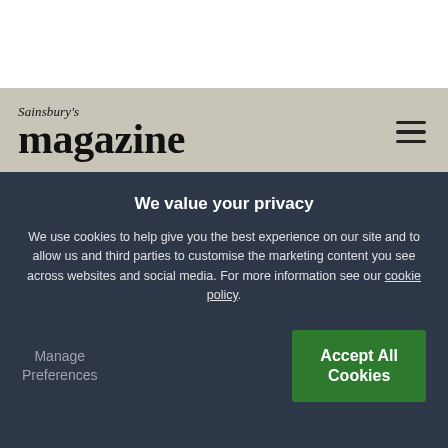Sainsbury's magazine
FOOD
Warm butter bean,
We value your privacy
We use cookies to help give you the best experience on our site and to allow us and third parties to customise the marketing content you see across websites and social media. For more information see our cookie policy.
Manage Preferences
Accept All Cookies